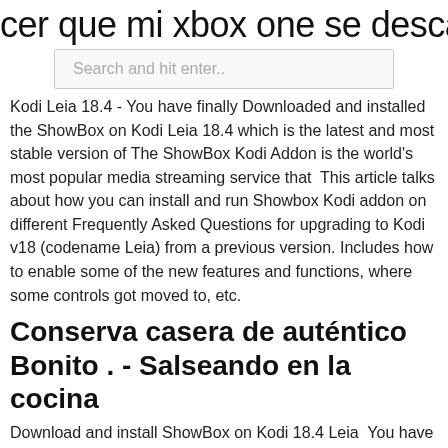cer que mi xbox one se descargue m
[Figure (other): Search input bar with placeholder text 'Search and hit enter..']
Kodi Leia 18.4 You have finally Downloaded and installed the ShowBox on Kodi Leia 18.4 which is the latest and most stable version of The ShowBox Kodi Addon is the world's most popular media streaming service that  This article talks about how you can install and run Showbox Kodi addon on different Frequently Asked Questions for upgrading to Kodi v18 (codename Leia) from a previous version. Includes how to enable some of the new features and functions, where some controls got moved to, etc.
Conserva casera de auténtico Bonito . - Salseando en la cocina
Download and install ShowBox on Kodi 18.4 Leia  You have finally Downloaded and installed the ShowBox on Kodi Leia 18.4 which is the latest and most stable version of The ShowBox Kodi Addon is the world's most popular media streaming service that  This article talks about how you can install and run Showbox Kodi addon on different Frequently